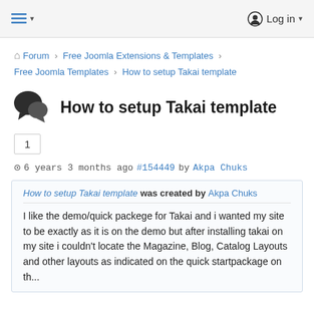≡ ▾   Log in ▾
Forum > Free Joomla Extensions & Templates > Free Joomla Templates > How to setup Takai template
How to setup Takai template
1
6 years 3 months ago #154449 by Akpa Chuks
How to setup Takai template was created by Akpa Chuks

I like the demo/quick packege for Takai and i wanted my site to be exactly as it is on the demo but after installing takai on my site i couldn't locate the Magazine, Blog, Catalog Layouts and other layouts as indicated on the quick startpackage on the...